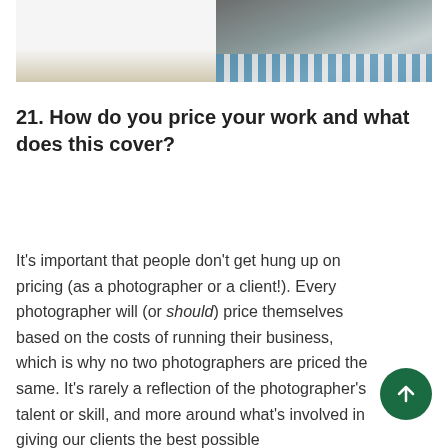[Figure (photo): Partial view of a bedroom/living room interior with white bedding on the left and a dark table with glassware on the right, with a blue striped rug visible at the bottom.]
21. How do you price your work and what does this cover?
It's important that people don't get hung up on pricing (as a photographer or a client!). Every photographer will (or should) price themselves based on the costs of running their business, which is why no two photographers are priced the same. It's rarely a reflection of the photographer's talent or skill, and more around what's involved in giving our clients the best possible